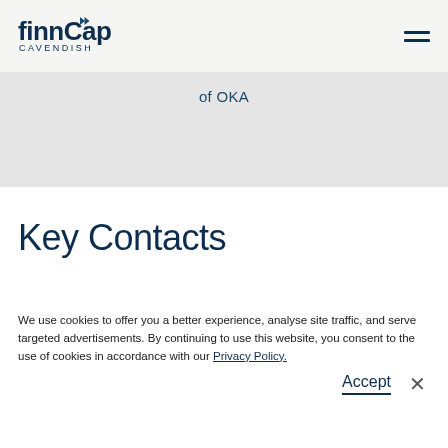finnCap Cavendish logo and navigation
of OKA
Key Contacts
We use cookies to offer you a better experience, analyse site traffic, and serve targeted advertisements. By continuing to use this website, you consent to the use of cookies in accordance with our Privacy Policy.
Accept